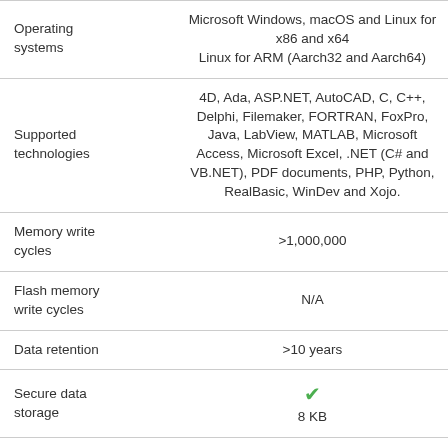| Feature | Value |
| --- | --- |
| Operating systems | Microsoft Windows, macOS and Linux for x86 and x64
Linux for ARM (Aarch32 and Aarch64) |
| Supported technologies | 4D, Ada, ASP.NET, AutoCAD, C, C++, Delphi, Filemaker, FORTRAN, FoxPro, Java, LabView, MATLAB, Microsoft Access, Microsoft Excel, .NET (C# and VB.NET), PDF documents, PHP, Python, RealBasic, WinDev and Xojo. |
| Memory write cycles | >1,000,000 |
| Flash memory write cycles | N/A |
| Data retention | >10 years |
| Secure data storage | ✓ 8 KB |
| Storage temperature | -20 °C ~ +85 °C |